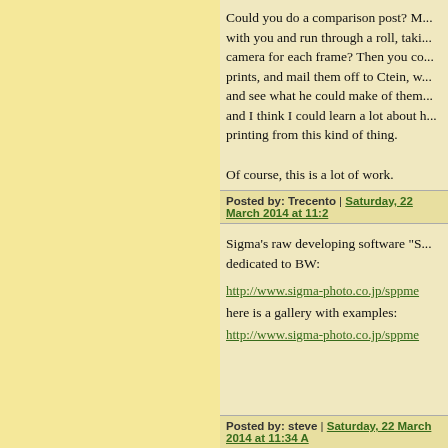Could you do a comparison post? M... with you and run through a roll, taki... camera for each frame? Then you co... prints, and mail them off to Ctein, w... and see what he could make of them... and I think I could learn a lot about h... printing from this kind of thing.
Of course, this is a lot of work.
Posted by: Trecento | Saturday, 22 March 2014 at 11:2...
Sigma's raw developing software "S... dedicated to BW:
http://www.sigma-photo.co.jp/sppme...
here is a gallery with examples:
http://www.sigma-photo.co.jp/sppme...
Posted by: steve | Saturday, 22 March 2014 at 11:34 A...